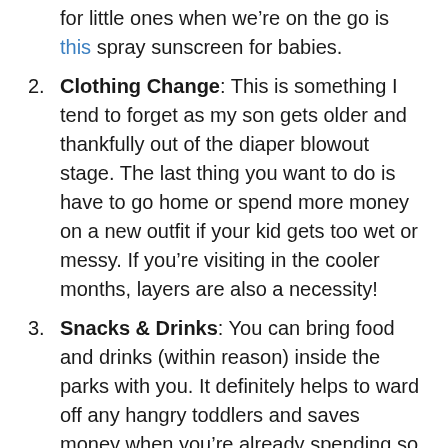for little ones when we’re on the go is this spray sunscreen for babies.
Clothing Change: This is something I tend to forget as my son gets older and thankfully out of the diaper blowout stage. The last thing you want to do is have to go home or spend more money on a new outfit if your kid gets too wet or messy. If you’re visiting in the cooler months, layers are also a necessity!
Snacks & Drinks: You can bring food and drinks (within reason) inside the parks with you. It definitely helps to ward off any hangry toddlers and saves money when you’re already spending so much on the parks. Note: You can no longer bring loose ice in